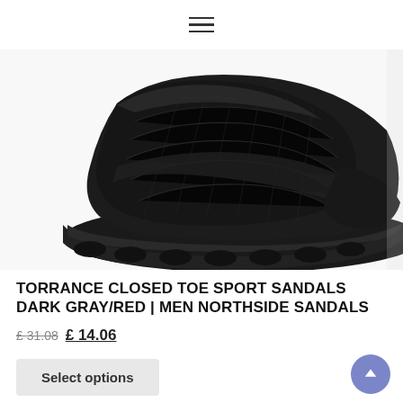≡ (hamburger menu icon)
[Figure (photo): Close-up photo of a black closed-toe sport sandal (Torrance model) showing the toe box and sole, photographed from above at an angle against a white background.]
TORRANCE CLOSED TOE SPORT SANDALS DARK GRAY/RED | MEN NORTHSIDE SANDALS
£ 31.08 £ 14.06
Select options